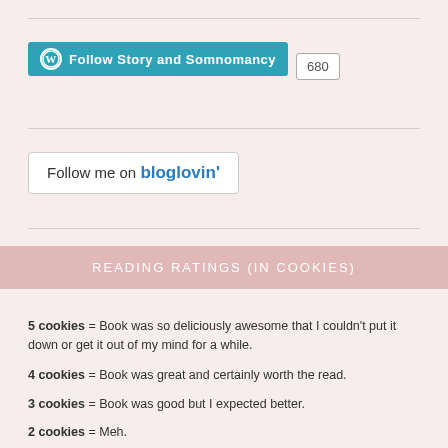[Figure (other): WordPress follow button for 'Story and Somnomancy' with follower count badge showing 680]
[Figure (other): Bloglovin follow button]
READING RATINGS (IN COOKIES)
5 cookies = Book was so deliciously awesome that I couldn't put it down or get it out of my mind for a while.
4 cookies = Book was great and certainly worth the read.
3 cookies = Book was good but I expected better.
2 cookies = Meh.